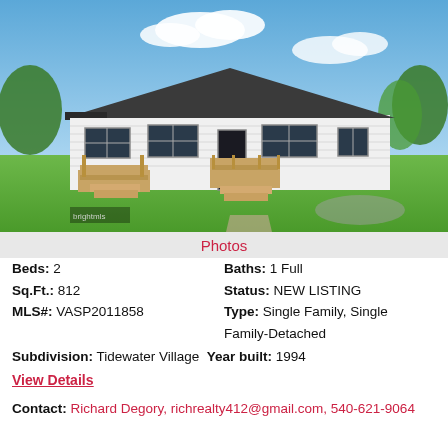[Figure (photo): Exterior photo of a white single-family ranch-style home with dark roof, wood decks/stairs, green lawn, and blue sky with clouds. brightmls watermark visible in bottom-left.]
Photos
Beds: 2
Baths: 1 Full
Sq.Ft.: 812
Status: NEW LISTING
MLS#: VASP2011858
Type: Single Family, Single Family-Detached
Subdivision: Tidewater Village  Year built: 1994
View Details
Contact: Richard Degory, richrealty412@gmail.com, 540-621-9064